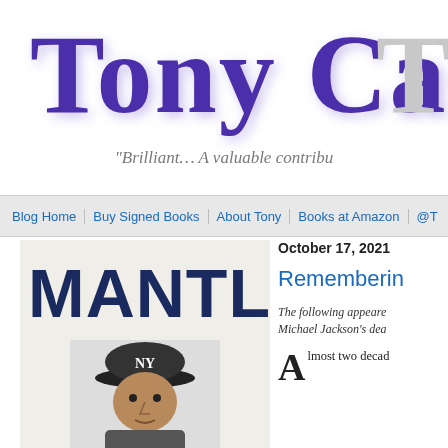Tony Cast
“Brilliant… A valuable contribu
Blog Home | Buy Signed Books | About Tony | Books at Amazon | @T
October 17, 2021
Rememberin
[Figure (photo): Book cover showing the word MANTLE in large dark blue letters with a player wearing a NY Yankees cap below]
The following appeare… Michael Jackson's dea…
Almost two decad…